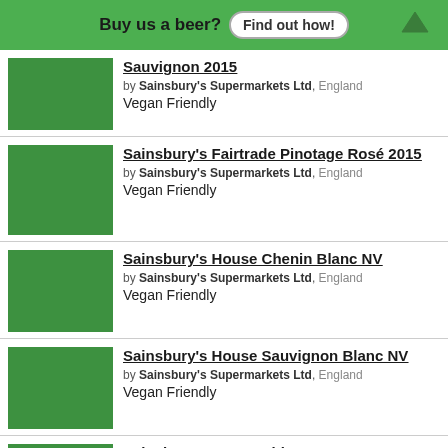Buy us a beer? Find out how!
Sauvignon 2015 by Sainsbury's Supermarkets Ltd, England Vegan Friendly
Sainsbury's Fairtrade Pinotage Rosé 2015 by Sainsbury's Supermarkets Ltd, England Vegan Friendly
Sainsbury's House Chenin Blanc NV by Sainsbury's Supermarkets Ltd, England Vegan Friendly
Sainsbury's House Sauvignon Blanc NV by Sainsbury's Supermarkets Ltd, England Vegan Friendly
Sainsbury's House Shiraz by Sainsbury's Supermarkets Ltd, England Vegan Friendly
Sainsbury's SO Organic Fairtrade Cabernet Sauvignon 2015 by Sainsbury's Supermarkets Ltd, England Vegan Friendly